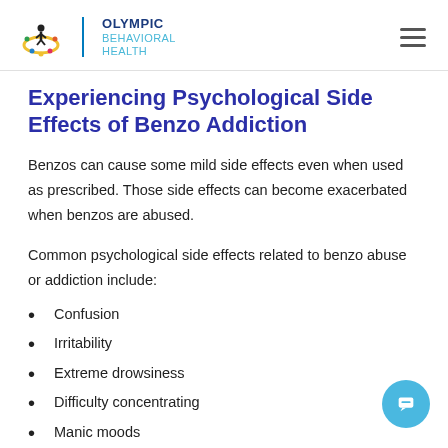OLYMPIC BEHAVIORAL HEALTH
Experiencing Psychological Side Effects of Benzo Addiction
Benzos can cause some mild side effects even when used as prescribed. Those side effects can become exacerbated when benzos are abused.
Common psychological side effects related to benzo abuse or addiction include:
Confusion
Irritability
Extreme drowsiness
Difficulty concentrating
Manic moods